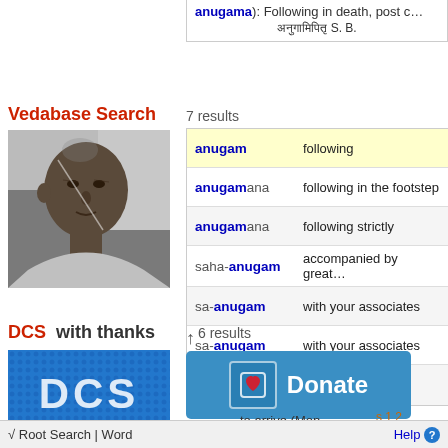anugama: Following in death, post c... S. B.
7 results
Vedabase Search
[Figure (photo): Black and white portrait photo of an elderly Indian man]
| Term | Definition |
| --- | --- |
| anugam | following |
| anugamana | following in the footstep |
| anugamana | following strictly |
| saha-anugam | accompanied by great |
| sa-anugam | with your associates |
| sa-anugam | with your associates |
| saha-anugam | accompanied by great |
DCS  with thanks
[Figure (logo): DCS logo with blue dotted background]
6 results
[Figure (infographic): Donate button with heart icon in blue]
to arrive (Mon...
√ Root Search | Word    Help